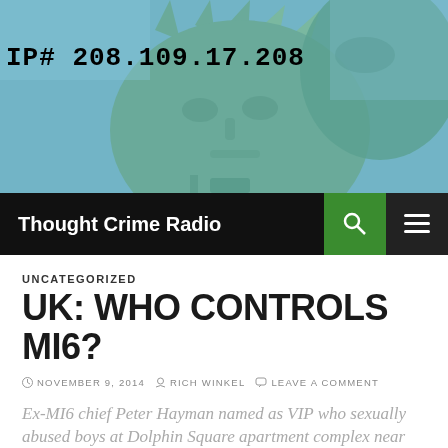[Figure (photo): Statue of Liberty face close-up with blue-green teal tones, with IP address overlay text 'IP# 208.109.17.208']
Thought Crime Radio
UNCATEGORIZED
UK: WHO CONTROLS MI6?
NOVEMBER 9, 2014   RICH WINKEL   LEAVE A COMMENT
Ex-MI6 chief Peter Hayman named as VIP who sexually abused boys at Dolphin Square apartment complex near Parliament
The former deputy director of MI6 Peter Hayman sexually abused young boys at an apartment complex